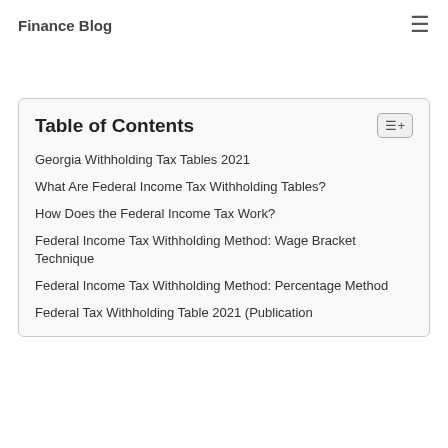Finance Blog
Table of Contents
Georgia Withholding Tax Tables 2021
What Are Federal Income Tax Withholding Tables?
How Does the Federal Income Tax Work?
Federal Income Tax Withholding Method: Wage Bracket Technique
Federal Income Tax Withholding Method: Percentage Method
Federal Tax Withholding Table 2021 (Publication